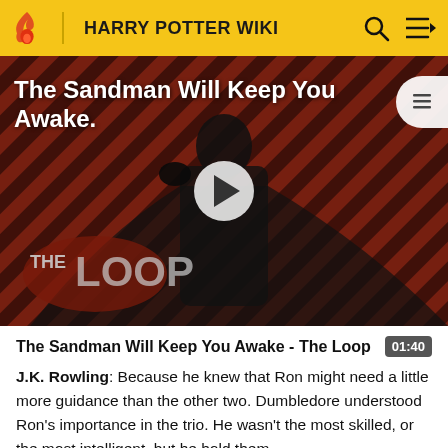HARRY POTTER WIKI
[Figure (screenshot): Video thumbnail for 'The Sandman Will Keep You Awake - The Loop' showing a figure in black with diagonal striped red/dark background and 'THE LOOP' text overlay, with a play button in the center.]
The Sandman Will Keep You Awake - The Loop  01:40
J.K. Rowling: Because he knew that Ron might need a little more guidance than the other two. Dumbledore understood Ron's importance in the trio. He wasn't the most skilled, or the most intelligent, but he hold them